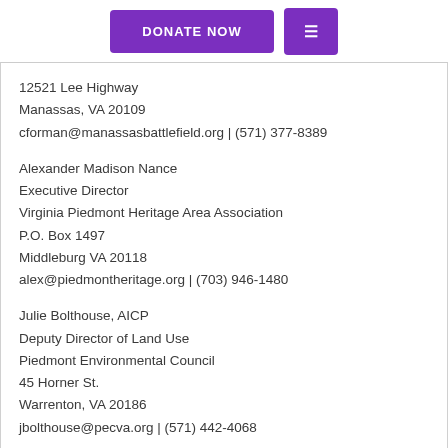DONATE NOW | ≡
12521 Lee Highway
Manassas, VA 20109
cforman@manassasbattlefield.org | (571) 377-8389
Alexander Madison Nance
Executive Director
Virginia Piedmont Heritage Area Association
P.O. Box 1497
Middleburg VA 20118
alex@piedmontheritage.org | (703) 946-1480
Julie Bolthouse, AICP
Deputy Director of Land Use
Piedmont Environmental Council
45 Horner St.
Warrenton, VA 20186
jbolthouse@pecva.org | (571) 442-4068